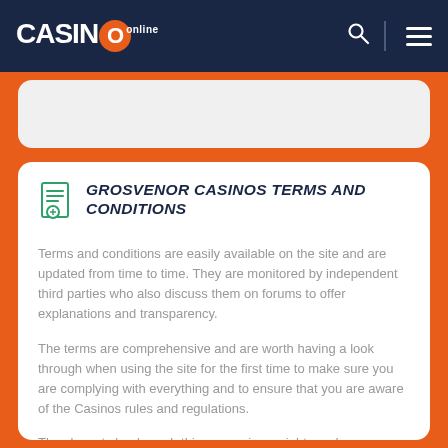CASINO online
GROSVENOR CASINOS TERMS AND CONDITIONS
Terms and conditions are easily available on the site and are updated from time to time. They are monitored by independent third parties who also discuss them on forums to offer explanations and transparency.
The terms are comprehensive and are worth having a look through when using the site for the first time to make sure you are complying with everything and to ensure that you are aware of the Casinos rules and regulations.
They layout clearly such things as privacy rights and any